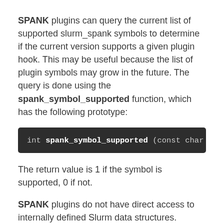SPANK plugins can query the current list of supported slurm_spank symbols to determine if the current version supports a given plugin hook. This may be useful because the list of plugin symbols may grow in the future. The query is done using the spank_symbol_supported function, which has the following prototype:
int spank_symbol_supported (const char *
The return value is 1 if the symbol is supported, 0 if not.
SPANK plugins do not have direct access to internally defined Slurm data structures. Instead,